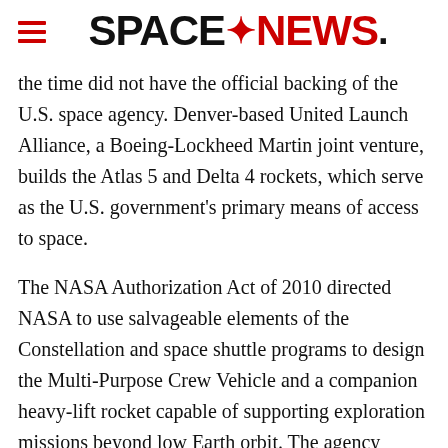SPACENEWS
the time did not have the official backing of the U.S. space agency. Denver-based United Launch Alliance, a Boeing-Lockheed Martin joint venture, builds the Atlas 5 and Delta 4 rockets, which serve as the U.S. government's primary means of access to space.
The NASA Authorization Act of 2010 directed NASA to use salvageable elements of the Constellation and space shuttle programs to design the Multi-Purpose Crew Vehicle and a companion heavy-lift rocket capable of supporting exploration missions beyond low Earth orbit. The agency announced its strategy for building the crew capsule in May, but did not commit to building the Space Launch System until September.
Boeing Space Exploration of Houston, Pratt & Whitney